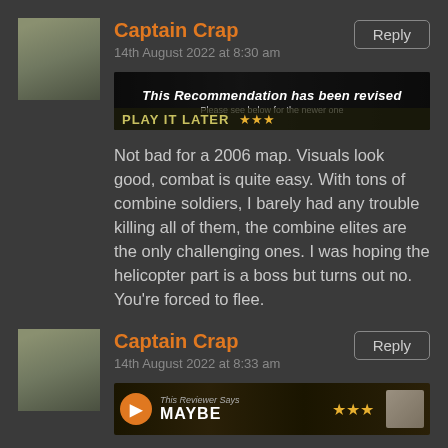Captain Crap
14th August 2022 at 8:30 am
[Figure (screenshot): Banner image showing 'This Recommendation has been revised. Please see below for the newer one.' with PLAY IT LATER text and stars below.]
Not bad for a 2006 map. Visuals look good, combat is quite easy. With tons of combine soldiers, I barely had any trouble killing all of them, the combine elites are the only challenging ones. I was hoping the helicopter part is a boss but turns out no. You're forced to flee.
Captain Crap
14th August 2022 at 8:33 am
[Figure (screenshot): Banner showing 'This Reviewer Says MAYBE' with star rating.]